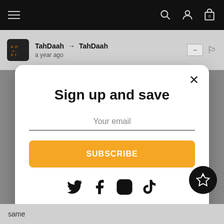Navigation bar with hamburger menu, search, profile, and cart icons
TahDaah → TahDaah · a year ago
Sign up and save
Your email
SUBSCRIBE
[Figure (other): Social media icons: Twitter, Facebook, Instagram, TikTok]
same